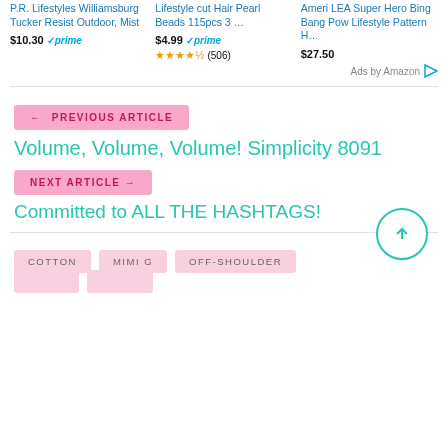[Figure (screenshot): Amazon product ads showing three products: P.R. Lifestyles Williamsburg Tucker Resist Outdoor Mist at $10.30 with Prime badge; Lifestyle cut Hair Pearl Beads 115pcs 3… at $4.99 with Prime badge and 4.5 star rating (506 reviews); Ameri LEA Super Hero Bing Bang Pow Lifestyle Pattern H… at $27.50]
Ads by Amazon
← PREVIOUS ARTICLE
Volume, Volume, Volume! Simplicity 8091
NEXT ARTICLE →
Committed to ALL THE HASHTAGS!
COTTON
MIMI G
OFF-SHOULDER